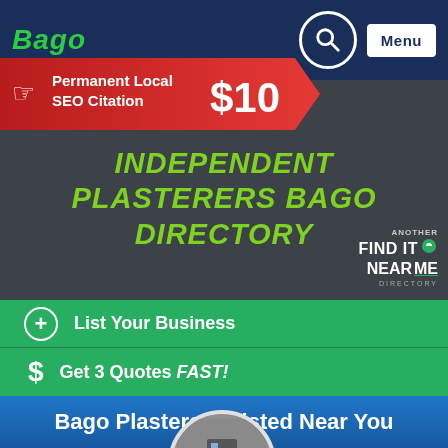Bago | Menu
[Figure (infographic): Red ribbon banner with cursor icon: Permanent Local SEO Citation $10]
INDEPENDENT PLASTERERS BAGO DIRECTORY
[Figure (logo): Another Find It Near Me .com.au Directory logo in bottom right of dark hero section]
+ List Your Business
$ Get 3 Quotes FAST!
Bago Plasterers Listed Near You
[Figure (map): Grey circular map thumbnail with location pin]
Closed   184.7kms
[Figure (other): 5-star empty/outline star rating]